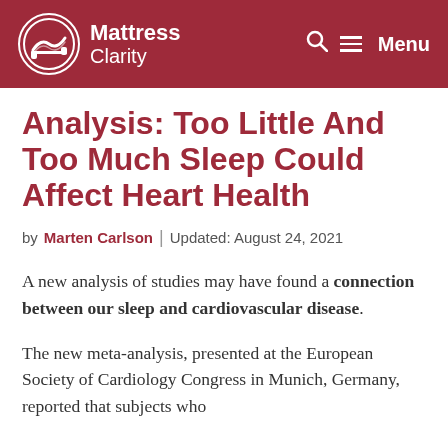Mattress Clarity | Menu
Analysis: Too Little And Too Much Sleep Could Affect Heart Health
by Marten Carlson | Updated: August 24, 2021
A new analysis of studies may have found a connection between our sleep and cardiovascular disease.
The new meta-analysis, presented at the European Society of Cardiology Congress in Munich, Germany, reported that subjects who